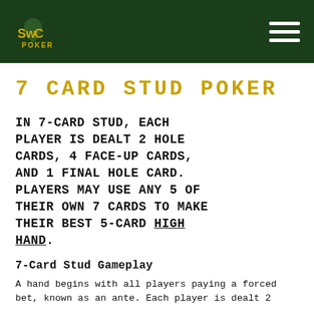SwC POKER
7 CARD STUD POKER
IN 7-CARD STUD, EACH PLAYER IS DEALT 2 HOLE CARDS, 4 FACE-UP CARDS, AND 1 FINAL HOLE CARD. PLAYERS MAY USE ANY 5 OF THEIR OWN 7 CARDS TO MAKE THEIR BEST 5-CARD HIGH HAND.
7-Card Stud Gameplay
A hand begins with all players paying a forced bet, known as an ante. Each player is dealt 2